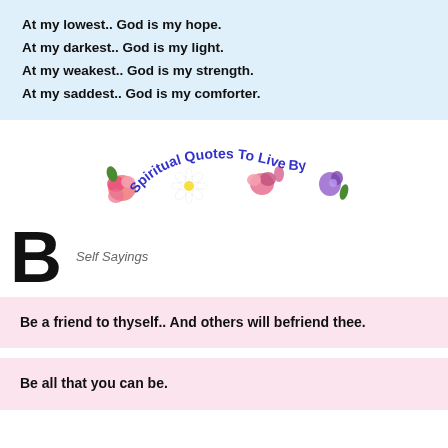At my lowest.. God is my hope.
At my darkest.. God is my light.
At my weakest.. God is my strength.
At my saddest.. God is my comforter.
[Figure (illustration): Decorative logo reading 'Spiritual Quotes To Live By' with flowers and a daisy, text in blue/purple curvy lettering with floral clip art around it.]
B  Self Sayings
Be a friend to thyself.. And others will befriend thee.
Be all that you can be.